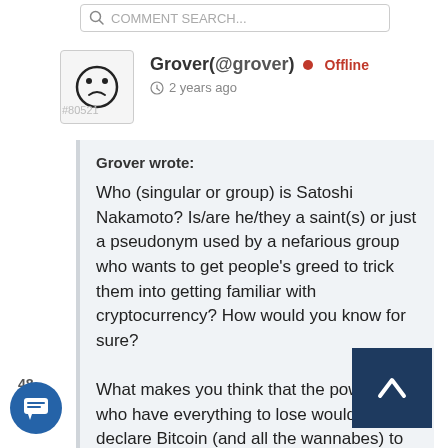[Figure (screenshot): Forum comment search bar at top of page]
[Figure (illustration): User avatar icon for Grover showing simple smiley face outline]
Grover(@grover) • Offline  ⏱ 2 years ago
#80521
Grover wrote:

Who (singular or group) is Satoshi Nakamoto? Is/are he/they a saint(s) or just a pseudonym used by a nefarious group who wants to get people's greed to trick them into getting familiar with cryptocurrency? How would you know for sure?

What makes you think that the powers who have everything to lose wouldn't declare Bitcoin (and all the wannabes) to be illegal when they are up against the wall and it suits
48
[Figure (illustration): Comment icon button (speech bubble with lines)]
[Figure (illustration): Scroll to top button with upward chevron arrow]